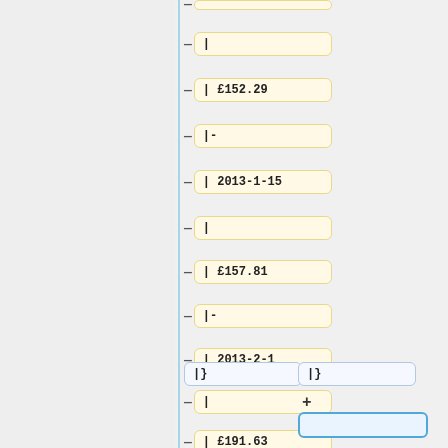|
| £152.29
|-
| 2013-1-15
|
| £157.81
|-
| 2013-2-1
|
| £191.63
|}
|}
+